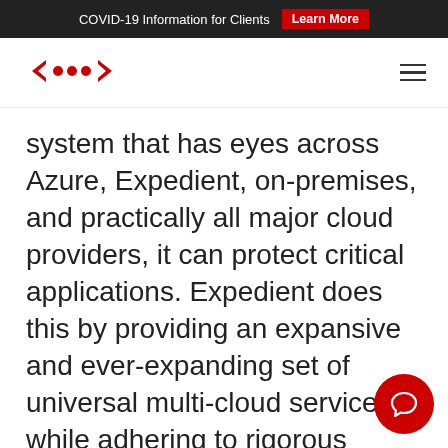COVID-19 Information for Clients  Learn More
[Figure (logo): Expedient logo: red angular bracket arrow design]
system that has eyes across Azure, Expedient, on-premises, and practically all major cloud providers, it can protect critical applications. Expedient does this by providing an expansive and ever-expanding set of universal multi-cloud services while adhering to rigorous compliance demands.
Expedient also delivers Push Button